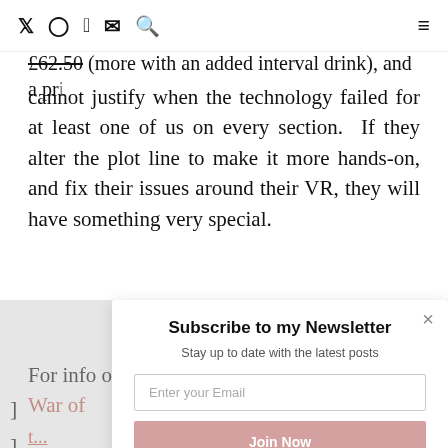[navigation icons: Twitter, Instagram, Facebook, Email, Search] [hamburger menu]
throughout the adventure.  Tickets are rather expensive at £62.50 (more with an added interval drink), and a price I cannot justify when the technology failed for at least one of us on every section.  If they alter the plot line to make it more hands-on, and fix their issues around their VR, they will have something very special.
For info on how to book, please see their website: War of t...
[Figure (screenshot): Newsletter subscription modal popup with title 'Subscribe to my Newsletter', subtitle 'Stay up to date with the latest posts', email input field, and 'Join Now' button]